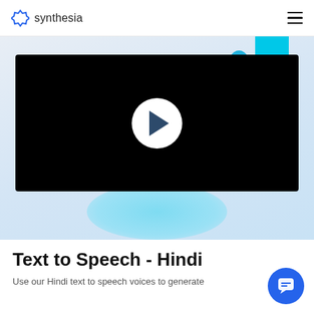synthesia
[Figure (screenshot): Video player thumbnail with black background and white circular play button in the center, with cyan decorative blob shapes in the upper-right background]
Text to Speech - Hindi
Use our Hindi text to speech voices to generate